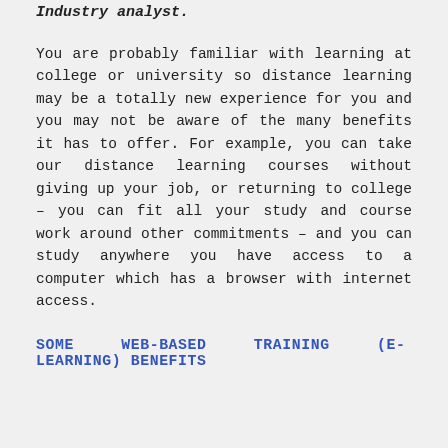Industry analyst.
You are probably familiar with learning at college or university so distance learning may be a totally new experience for you and you may not be aware of the many benefits it has to offer. For example, you can take our distance learning courses without giving up your job, or returning to college – you can fit all your study and course work around other commitments – and you can study anywhere you have access to a computer which has a browser with internet access.
SOME WEB-BASED TRAINING (E-LEARNING) BENEFITS